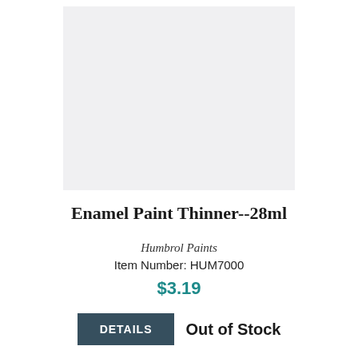[Figure (photo): Product image placeholder — light gray square representing the Enamel Paint Thinner 28ml product]
Enamel Paint Thinner--28ml
Humbrol Paints
Item Number: HUM7000
$3.19
DETAILS   Out of Stock